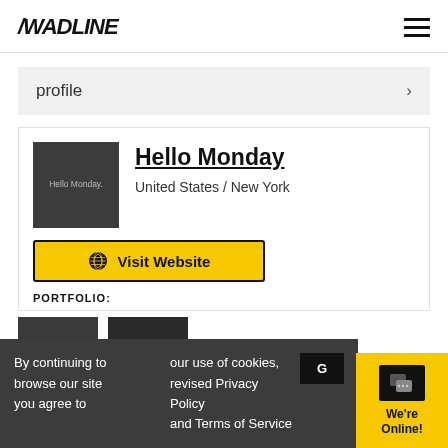/WADLINE
profile ›
[Figure (logo): Hello Monday agency logo: dark grey square with 'Hello Monday.' text in light grey]
Hello Monday
United States / New York
Visit Website
PORTFOLIO:
[Figure (photo): Two dark portfolio thumbnail images]
By continuing to browse our site you agree to our use of cookies, revised Privacy Policy and Terms of Service
We're Online!